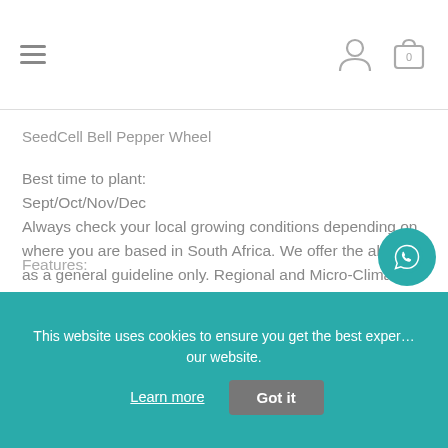≡  [user icon]  [cart icon] 0
SeedCell Bell Pepper Wheel
Best time to plant:
Sept/Oct/Nov/Dec
Always check your local growing conditions depending on where you are based in South Africa. We offer the above as a general guideline only. Regional and Micro-Climate conditions will affect your growing success
Features:
This website uses cookies to ensure you get the best experience on our website.
Learn more   Got it